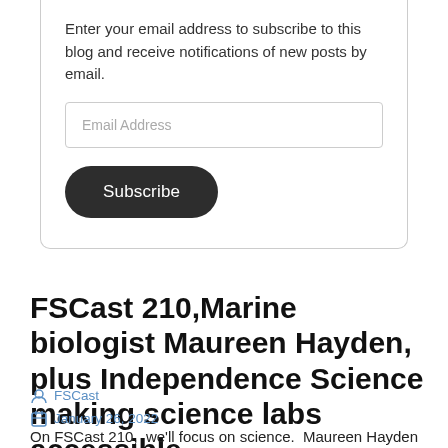Enter your email address to subscribe to this blog and receive notifications of new posts by email.
Email Address
Subscribe
FSCast 210,Marine biologist Maureen Hayden, plus Independence Science making science labs accessible
FSCast
January 26, 2022
On FSCast 210,  we'll focus on science.  Maureen Hayden will